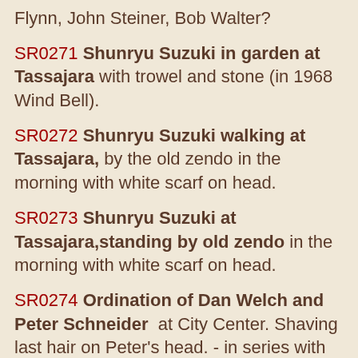Flynn, John Steiner, Bob Walter?
SR0271 Shunryu Suzuki in garden at Tassajara with trowel and stone (in 1968 Wind Bell).
SR0272 Shunryu Suzuki walking at Tassajara, by the old zendo in the morning with white scarf on head.
SR0273 Shunryu Suzuki at Tassajara,standing by old zendo in the morning with white scarf on head.
SR0274 Ordination of Dan Welch and Peter Schneider at City Center. Shaving last hair on Peter's head. - in series with SR0236-40.
SR0275 Shunryu Suzuki waving at Haneda Airport leaving for San Francisco 4 different